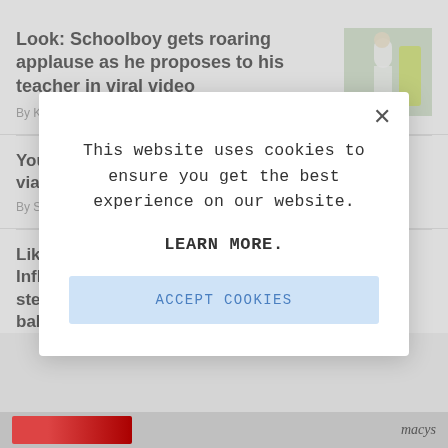Look: Schoolboy gets roaring applause as he proposes to his teacher in viral video
By Kailene Pillay | Published Aug 17, 2022
You [truncated] via W[truncated]
By Se[truncated]
Like [truncated] Influ[truncated] step[truncated] baby[truncated]
This website uses cookies to ensure you get the best experience on our website.

LEARN MORE.

ACCEPT COOKIES